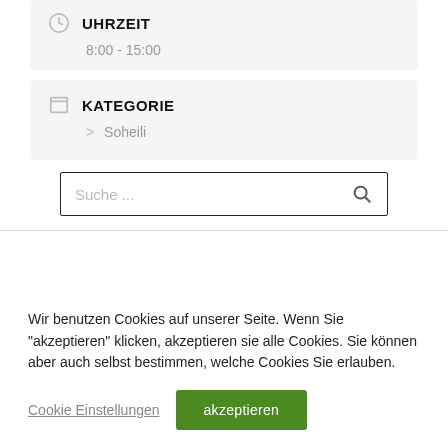UHRZEIT
8:00 - 15:00
KATEGORIE
> Soheili
Suche ...
Wir benutzen Cookies auf unserer Seite. Wenn Sie "akzeptieren" klicken, akzeptieren sie alle Cookies. Sie können aber auch selbst bestimmen, welche Cookies Sie erlauben.
Cookie Einstellungen
akzeptieren